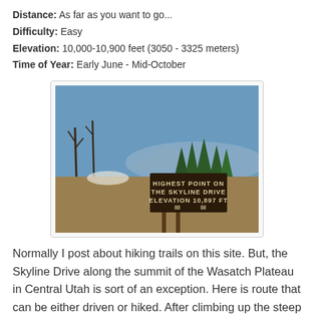Distance: As far as you want to go...
Difficulty: Easy
Elevation: 10,000-10,900 feet (3050 - 3325 meters)
Time of Year: Early June - Mid-October
[Figure (photo): Photo of a mountain landscape with conifer trees and a brown sign reading 'HIGHEST POINT ON THE SKYLINE DRIVE ELEVATION 10,897 FT']
Normally I post about hiking trails on this site. But, the Skyline Drive along the summit of the Wasatch Plateau in Central Utah is sort of an exception. Here is route that can be either driven or hiked. After climbing up the steep mountain road from Mayfield, UT, it was so beautiful at the